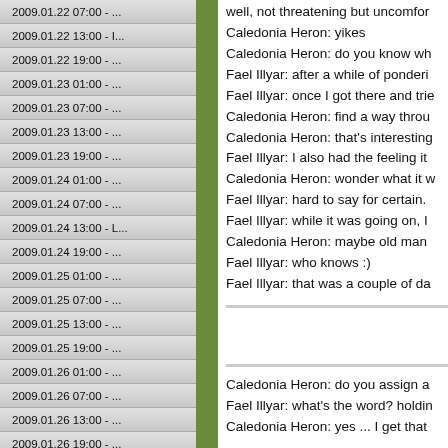2009.01.22 07:00 - ...
2009.01.22 13:00 - I...
2009.01.22 19:00 - ...
2009.01.23 01:00 - ...
2009.01.23 07:00 - ...
2009.01.23 13:00 - ...
2009.01.23 19:00 - ...
2009.01.24 01:00 - ...
2009.01.24 07:00 - ...
2009.01.24 13:00 - L...
2009.01.24 19:00 - ...
2009.01.25 01:00 - ...
2009.01.25 07:00 - ...
2009.01.25 13:00 - ...
2009.01.25 19:00 - ...
2009.01.26 01:00 - ...
2009.01.26 07:00 - ...
2009.01.26 13:00 - ...
2009.01.26 19:00 - ...
well, not threatening but uncomfor
Caledonia Heron: yikes
Caledonia Heron: do you know wh
Fael Illyar: after a while of ponderi
Fael Illyar: once I got there and trie
Caledonia Heron: find a way throu
Caledonia Heron: that's interesting
Fael Illyar: I also had the feeling it
Caledonia Heron: wonder what it w
Fael Illyar: hard to say for certain.
Fael Illyar: while it was going on, I
Caledonia Heron: maybe old man
Fael Illyar: who knows :)
Fael Illyar: that was a couple of da
Caledonia Heron: do you assign a
Fael Illyar: what's the word? holdin
Caledonia Heron: yes ... I get that